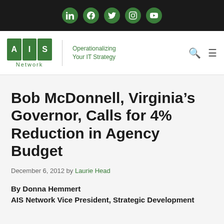[Figure (other): Social media icon bar with LinkedIn, Facebook, Twitter, Instagram, YouTube icons on dark background]
[Figure (logo): AIS Network logo with green grid letters A, I, S and tagline 'Operationalizing Your IT Strategy']
Bob McDonnell, Virginia’s Governor, Calls for 4% Reduction in Agency Budget
December 6, 2012 by Laurie Head
By Donna Hemmert
AIS Network Vice President, Strategic Development